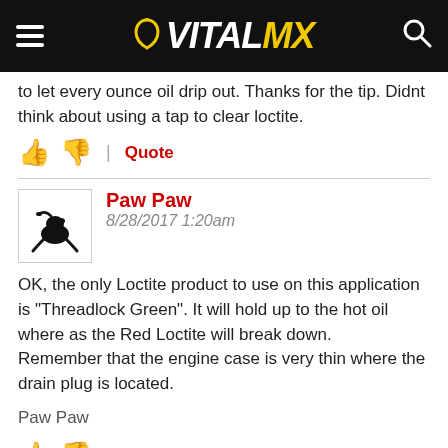VITALMX
to let every ounce oil drip out. Thanks for the tip. Didnt think about using a tap to clear loctite.
Quote
Paw Paw
8/28/2017 1:20am
OK, the only Loctite product to use on this application is "Threadlock Green". It will hold up to the hot oil where as the Red Loctite will break down.
Remember that the engine case is very thin where the drain plug is located.
Paw Paw
Quote